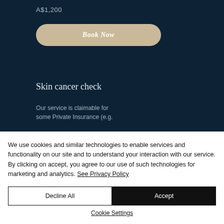A$1,200
Book Now
Skin cancer check
Our service is claimable for some Private Insurance (e.g.
We use cookies and similar technologies to enable services and functionality on our site and to understand your interaction with our service. By clicking on accept, you agree to our use of such technologies for marketing and analytics. See Privacy Policy
Decline All
Accept
Cookie Settings